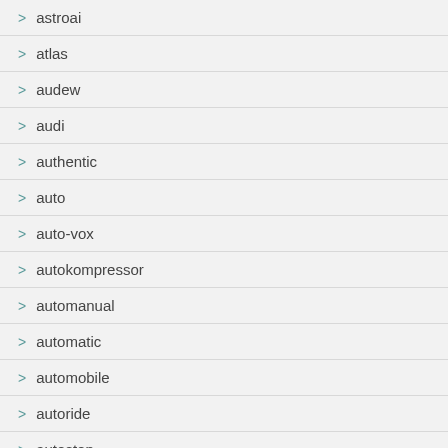> astroai
> atlas
> audew
> audi
> authentic
> auto
> auto-vox
> autokompressor
> automanual
> automatic
> automobile
> autoride
> autostop